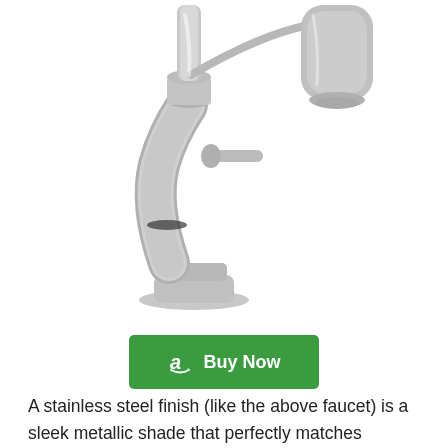[Figure (photo): A stainless steel brushed nickel kitchen faucet with a pull-down sprayer head extended to the right, shown on a white background.]
Buy Now
A stainless steel finish (like the above faucet) is a sleek metallic shade that perfectly matches modern stainless steel appliances. In contrast to the chrome finish, spots are not readily visible on stainless steel.